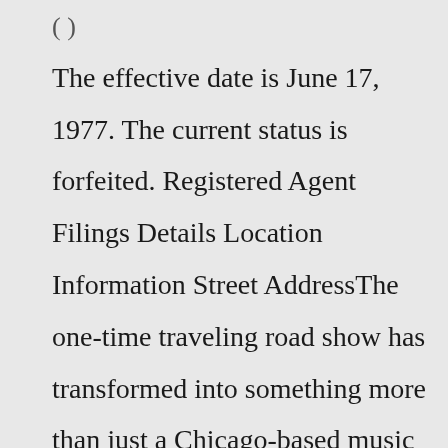( ) The effective date is June 17, 1977. The current status is forfeited. Registered Agent Filings Details Location Information Street AddressThe one-time traveling road show has transformed into something more than just a Chicago-based music festival. While it featured popular headliners like The Cure, Mumford & Sons, The National, Grizzly Bear and Phoenix, there was also a growing emphasis on food — and not just good